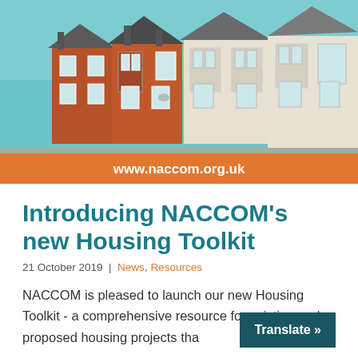[Figure (photo): Photograph of a row of Victorian terraced houses with brick facades, bay windows, and chimneys under a blue sky.]
www.naccom.org.uk
Introducing NACCOM's new Housing Toolkit
21 October 2019 | News, Resources
NACCOM is pleased to launch our new Housing Toolkit - a comprehensive resource for existing and proposed housing projects tha…
Translate »